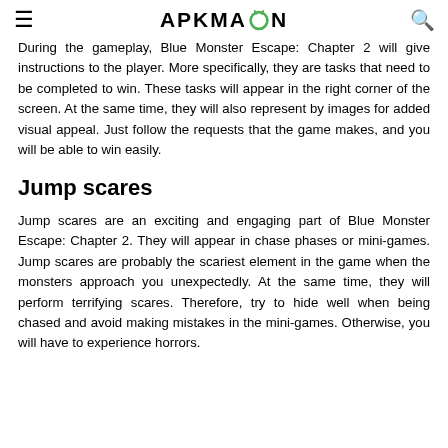≡  APKMAZON  🔍
During the gameplay, Blue Monster Escape: Chapter 2 will give instructions to the player. More specifically, they are tasks that need to be completed to win. These tasks will appear in the right corner of the screen. At the same time, they will also represent by images for added visual appeal. Just follow the requests that the game makes, and you will be able to win easily.
Jump scares
Jump scares are an exciting and engaging part of Blue Monster Escape: Chapter 2. They will appear in chase phases or mini-games. Jump scares are probably the scariest element in the game when the monsters approach you unexpectedly. At the same time, they will perform terrifying scares. Therefore, try to hide well when being chased and avoid making mistakes in the mini-games. Otherwise, you will have to experience horrors.